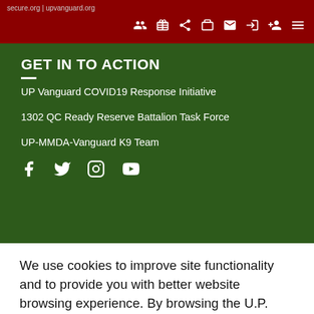secure.org | upvanguard.org — navigation bar with icons
GET IN TO ACTION
UP Vanguard COVID19 Response Initiative
1302 QC Ready Reserve Battalion Task Force
UP-MMDA-Vanguard K9 Team
We use cookies to improve site functionality and to provide you with better website browsing experience. By browsing the U.P. Vanguard, Inc. website, you consent to our use of cookies.
VIEW PRIVACY POLICY
OK